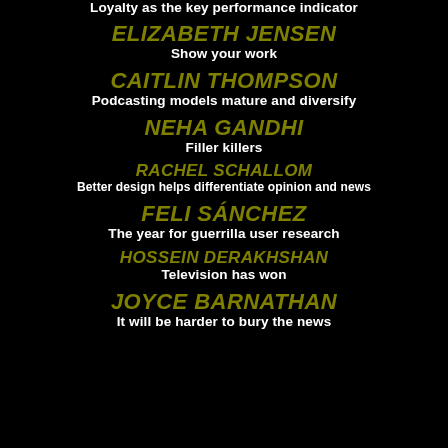Loyalty as the key performance indicator
ELIZABETH JENSEN
Show your work
CAITLIN THOMPSON
Podcasting models mature and diversify
NEHA GANDHI
Filler killers
RACHEL SCHALLOM
Better design helps differentiate opinion and news
FELI SÁNCHEZ
The year for guerrilla user research
HOSSEIN DERAKHSHAN
Television has won
JOYCE BARNATHAN
It will be harder to bury the news